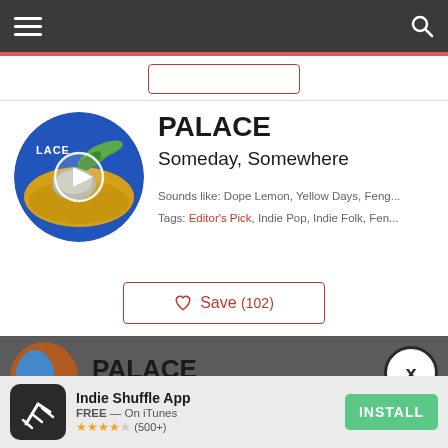[Figure (screenshot): Navigation bar with hamburger menu icon on left and search icon on right, dark gray background with red stripe below]
[Figure (screenshot): Palace album art - circular image with blue background showing plant and stone, with play button overlay]
PALACE
Someday, Somewhere
Sounds like: Dope Lemon, Yellow Days, Feng...
Tags: Editor's Pick, Indie Pop, Indie Folk, Fen...
♡  Save (102)
[Figure (screenshot): Second Palace album entry partially visible at bottom, with circular brown/blue album art and X close button]
PALACE
Indie Shuffle App
FREE — On iTunes
★★★★☆ (500+)
INSTALL